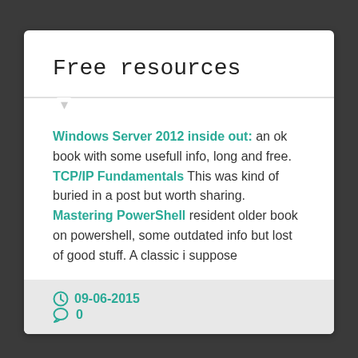Free resources
Windows Server 2012 inside out: an ok book with some usefull info, long and free.
TCP/IP Fundamentals This was kind of buried in a post but worth sharing.
Mastering PowerShell resident older book on powershell, some outdated info but lost of good stuff. A classic i suppose
09-06-2015   0